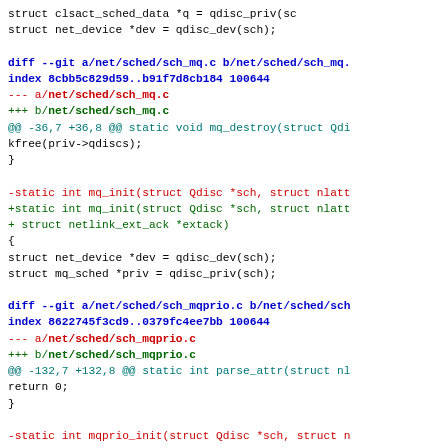struct clsact_sched_data *q = qdisc_priv(sc
        struct net_device *dev = qdisc_dev(sch);
diff --git a/net/sched/sch_mq.c b/net/sched/sch_mq.
index 8cbb5c829d59..b91f7d8cb184 100644
--- a/net/sched/sch_mq.c
+++ b/net/sched/sch_mq.c
@@ -36,7 +36,8 @@ static void mq_destroy(struct Qdi
        kfree(priv->qdiscs);
 }
-static int mq_init(struct Qdisc *sch, struct nlatt
+static int mq_init(struct Qdisc *sch, struct nlatt
+                   struct netlink_ext_ack *extack)
 {
        struct net_device *dev = qdisc_dev(sch);
        struct mq_sched *priv = qdisc_priv(sch);
diff --git a/net/sched/sch_mqprio.c b/net/sched/sch
index 8622745f3cd9..0379fc4ee7bb 100644
--- a/net/sched/sch_mqprio.c
+++ b/net/sched/sch_mqprio.c
@@ -132,7 +132,8 @@ static int parse_attr(struct nl
        return 0;
 }
-static int mqprio_init(struct Qdisc *sch, struct n